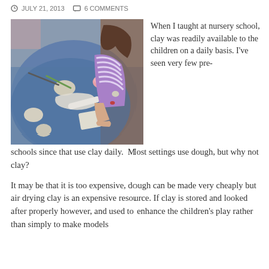JULY 21, 2013   6 COMMENTS
[Figure (photo): Overhead view of a child in a striped top working with clay on a blue paint-covered table, with clay lumps, tools, and a pink bowl visible]
When I taught at nursery school, clay was readily available to the children on a daily basis. I've seen very few pre-schools since that use clay daily.  Most settings use dough, but why not clay?
It may be that it is too expensive, dough can be made very cheaply but air drying clay is an expensive resource. If clay is stored and looked after properly however, and used to enhance the children's play rather than simply to make models